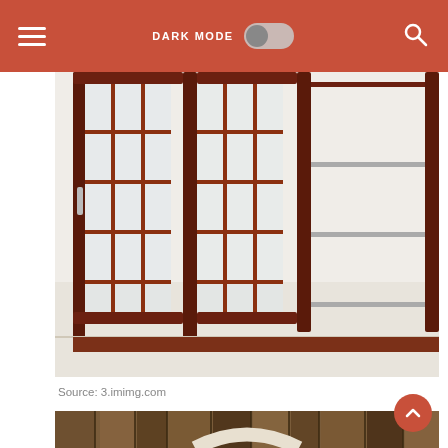DARK MODE [toggle] [search]
[Figure (photo): Dark reddish-brown wooden cabinet or bookcase with glass panes and doors open, photographed on white tile floor. Source: 3.imimg.com]
Source: 3.imimg.com
Fsc temperate softwood treated with plant based paint • keep window panes as large as practically possible.
[Figure (photo): Wooden plank background with a white painted arched wooden frame/window detail visible at the bottom.]